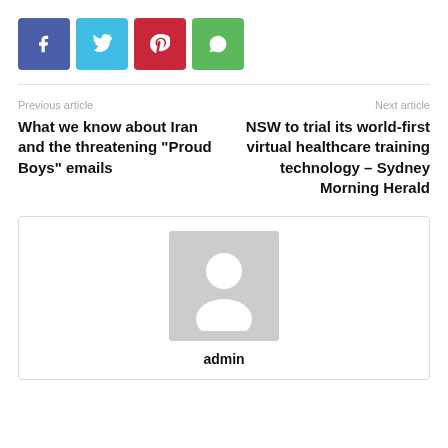[Figure (other): Row of four social media share buttons: Facebook (blue), Twitter (light blue), Pinterest (red), WhatsApp (green)]
Previous article
What we know about Iran and the threatening “Proud Boys” emails
Next article
NSW to trial its world-first virtual healthcare training technology – Sydney Morning Herald
[Figure (illustration): Default user avatar placeholder: grey square with white silhouette of a person (head and shoulders)]
admin